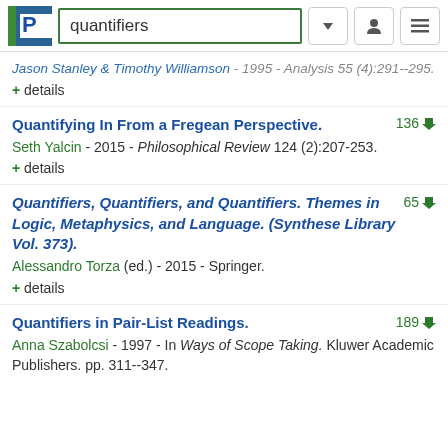quantifiers
Jason Stanley & Timothy Williamson - 1995 - Analysis 55 (4):291--295.
+ details
Quantifying In From a Fregean Perspective.
Seth Yalcin - 2015 - Philosophical Review 124 (2):207-253.
+ details
Quantifiers, Quantifiers, and Quantifiers. Themes in Logic, Metaphysics, and Language. (Synthese Library Vol. 373).
Alessandro Torza (ed.) - 2015 - Springer.
+ details
Quantifiers in Pair-List Readings.
Anna Szabolcsi - 1997 - In Ways of Scope Taking. Kluwer Academic Publishers. pp. 311--347.